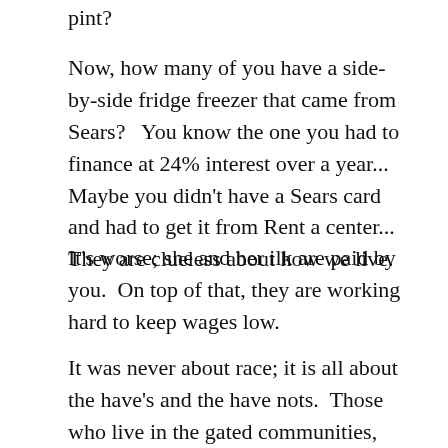pint?
Now, how many of you have a side-by-side fridge freezer that came from Sears?   You know the one you had to finance at 24% interest over a year...   Maybe you didn't have a Sears card and had to get it from Rent a center...  They are clueless about how we live.
It's worse; she and her ilk are paid by you.  On top of that, they are working hard to keep wages low.
It was never about race; it is all about the have's and the have nots.  Those who live in the gated communities, show up on the silver screen, living in the greatest wealth in...